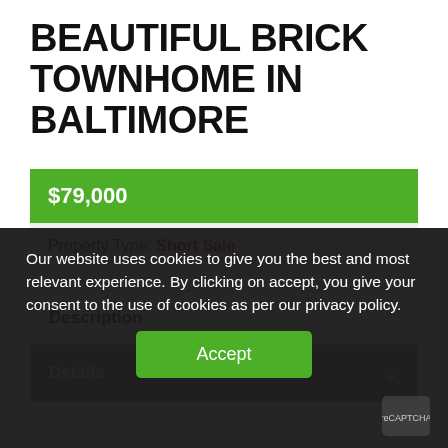BEAUTIFUL BRICK TOWNHOME IN BALTIMORE
$79,000
Property Type: Short Sale
Description
Details
Our website uses cookies to give you the best and most relevant experience. By clicking on accept, you give your consent to the use of cookies as per our privacy policy.
Accept